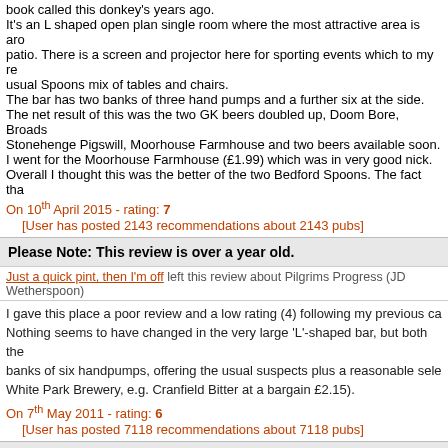book called this donkey's years ago.
It's an L shaped open plan single room where the most attractive area is around the patio. There is a screen and projector here for sporting events which to my re- usual Spoons mix of tables and chairs.
The bar has two banks of three hand pumps and a further six at the side.
The net result of this was the two GK beers doubled up, Doom Bore, Broads- Stonehenge Pigswill, Moorhouse Farmhouse and two beers available soon.
I went for the Moorhouse Farmhouse (£1.99) which was in very good nick.
Overall I thought this was the better of the two Bedford Spoons. The fact tha-
On 10th April 2015 - rating: 7
[User has posted 2143 recommendations about 2143 pubs]
Please Note: This review is over a year old.
Just a quick pint, then I'm off left this review about Pilgrims Progress (JD Wetherspoon)
I gave this place a poor review and a low rating (4) following my previous ca- Nothing seems to have changed in the very large 'L'-shaped bar, but both the banks of six handpumps, offering the usual suspects plus a reasonable sele- White Park Brewery, e.g. Cranfield Bitter at a bargain £2.15).
On 7th May 2011 - rating: 6
[User has posted 7118 recommendations about 7118 pubs]
Please Note: This review is over a year old.
lily hana left this review about Pilgrims Progress (JD Wetherspoon)
i was quite suprised at how many guest ales were availible for my friends to cheap compared to other pub chains around the bedfordshire area.
On 18th February 2010 - rating: 7
[User has posted 5 recommendations about 5 pubs]